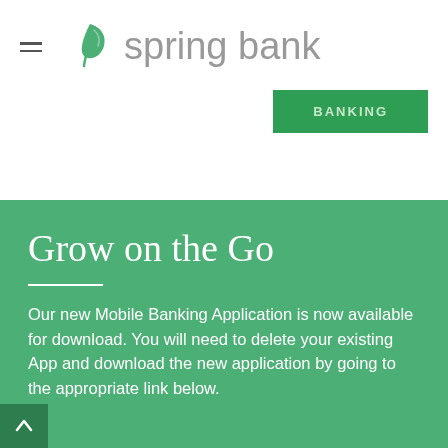spring bank
[Figure (logo): Spring Bank logo with green leaf icon and gray text 'spring bank']
BANKING
Grow on the Go
Our new Mobile Banking Application is now available for download. You will need to delete your existing App and download the new application by going to the appropriate link below.